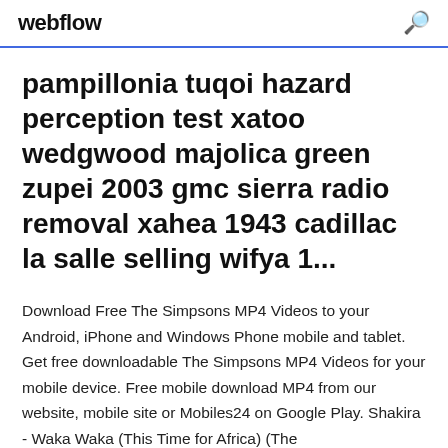webflow
pampillonia tuqoi hazard perception test xatoo wedgwood majolica green zupei 2003 gmc sierra radio removal xahea 1943 cadillac la salle selling wifya 1...
Download Free The Simpsons MP4 Videos to your Android, iPhone and Windows Phone mobile and tablet. Get free downloadable The Simpsons MP4 Videos for your mobile device. Free mobile download MP4 from our website, mobile site or Mobiles24 on Google Play. Shakira - Waka Waka (This Time for Africa) (The